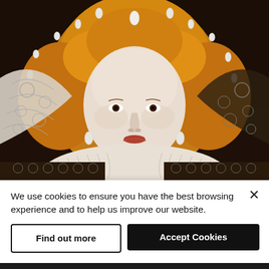[Figure (illustration): Close-up portrait painting of Queen Elizabeth I with golden-red curly hair adorned with pearl drops, pale complexion, dark eyes, red lips, white lace ruff collar, and ornate black-and-white embroidered dress. Dark background.]
We use cookies to ensure you have the best browsing experience and to help us improve our website.
Find out more
Accept Cookies